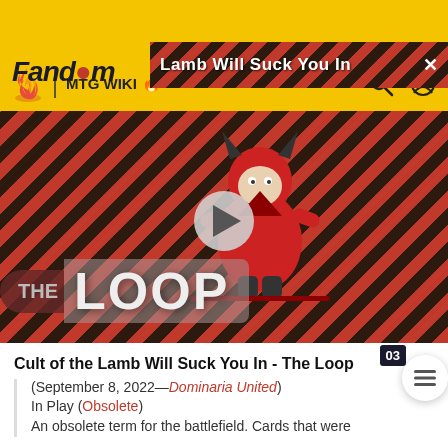Fandom | MTG WIKI
[Figure (screenshot): Video thumbnail showing 'THE LOOP' with a cartoon character on a diagonal stripe red/dark background, with a play button overlay.]
Cult of the Lamb Will Suck You In - The Loop  03
(September 8, 2022—Dominaria United)
In Play (Obsolete)
An obsolete term for the battlefield. Cards that were